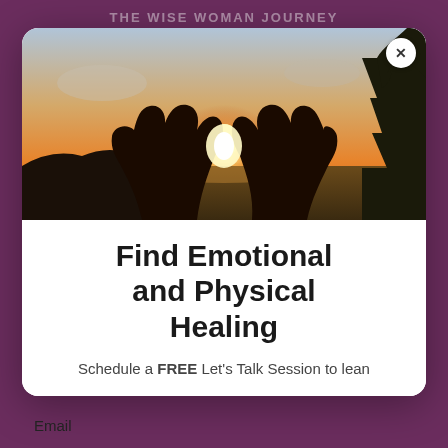THE WISE WOMAN JOURNEY
[Figure (photo): Silhouette of two hands raised toward a bright sun over a calm lake at sunset, with pine trees on the right side. Warm golden tones.]
Find Emotional and Physical Healing
Schedule a FREE Let's Talk Session to lean
Email